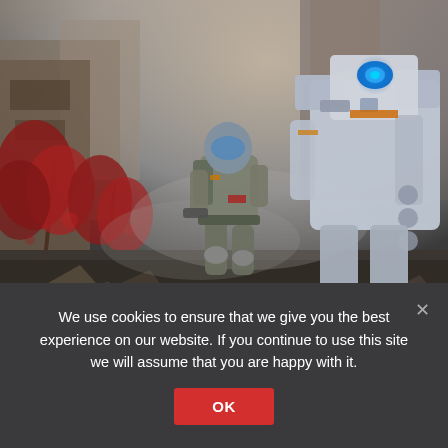[Figure (illustration): Video game artwork showing an armored soldier/pilot running in the foreground and a large mech robot in the background right, with red-leafed trees on the left, rubble on the ground, misty atmospheric environment — likely from the game Titanfall 2.]
We use cookies to ensure that we give you the best experience on our website. If you continue to use this site we will assume that you are happy with it.